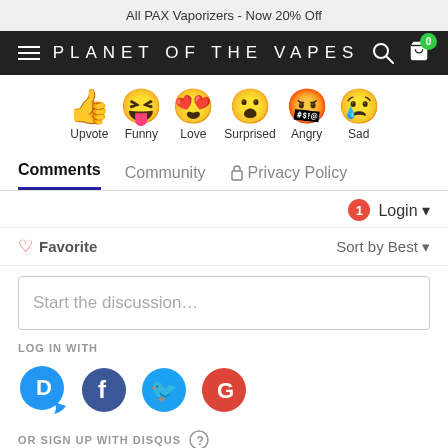All PAX Vaporizers - Now 20% Off
PLANET OF THE VAPES
[Figure (infographic): Row of reaction emoji icons: thumbs up (Upvote), laughing with tongue (Funny), laughing with hearts for eyes (Love), surprised face (Surprised), angry/crying face (Angry), sad crying face (Sad)]
Comments  Community  Privacy Policy
Login
Favorite   Sort by Best
Start the discussion...
LOG IN WITH
[Figure (infographic): Social login icons: Disqus (blue speech bubble with D), Facebook (dark blue circle with f), Twitter (light blue circle with bird), Google (red circle with G)]
OR SIGN UP WITH DISQUS